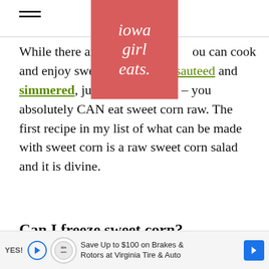iowa girl eats.
While there are many ways you can cook and enjoy sweet corn – grilled, sauteed and simmered, just to name a few – you absolutely CAN eat sweet corn raw. The first recipe in my list of what can be made with sweet corn is a raw sweet corn salad and it is divine.
Can I freeze sweet corn?
Save Up to $100 on Brakes & Rotors at Virginia Tire & Auto